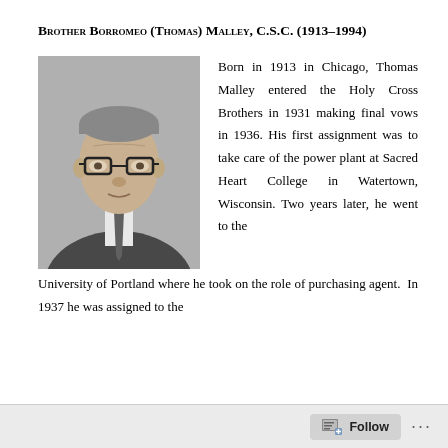Brother Borromeo (Thomas) Malley, C.S.C. (1913–1994)
[Figure (photo): Black and white portrait photograph of Brother Borromeo (Thomas) Malley, an elderly man wearing glasses, a suit and tie.]
Born in 1913 in Chicago, Thomas Malley entered the Holy Cross Brothers in 1931 making final vows in 1936. His first assignment was to take care of the power plant at Sacred Heart College in Watertown, Wisconsin. Two years later, he went to the University of Portland where he took on the role of purchasing agent. In 1937 he was assigned to the
Follow ···